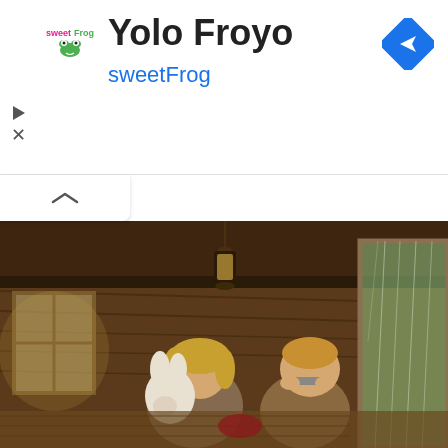[Figure (logo): sweetFrog logo - pink and green text logo for a frozen yogurt brand]
Yolo Froyo
sweetFrog
[Figure (illustration): Illustrated painting of two children inside a rustic wooden cabin. A girl holds a stuffed rabbit toy while a boy plays harmonica near an open door with rain visible outside. A lantern hangs from the ceiling.]